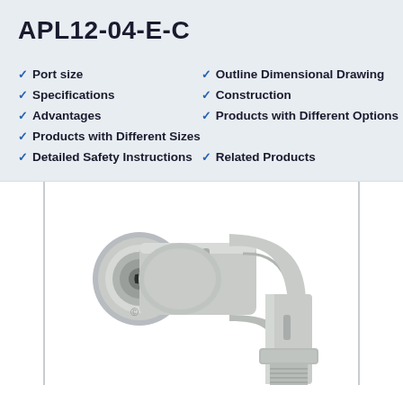APL12-04-E-C
Port size
Outline Dimensional Drawing
Specifications
Construction
Advantages
Products with Different Options
Products with Different Sizes
Detailed Safety Instructions
Related Products
[Figure (photo): Close-up photo of APL12-04-E-C pneumatic elbow push-in fitting connector in gray/beige plastic, showing the tube insertion port on the left and threaded male fitting on the bottom.]